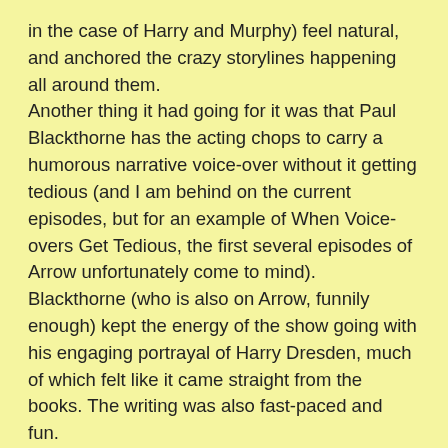in the case of Harry and Murphy) feel natural, and anchored the crazy storylines happening all around them.
Another thing it had going for it was that Paul Blackthorne has the acting chops to carry a humorous narrative voice-over without it getting tedious (and I am behind on the current episodes, but for an example of When Voice-overs Get Tedious, the first several episodes of Arrow unfortunately come to mind). Blackthorne (who is also on Arrow, funnily enough) kept the energy of the show going with his engaging portrayal of Harry Dresden, much of which felt like it came straight from the books. The writing was also fast-paced and fun.
One area where the show went wrong, I think (or, more accurately, didn't go right far enough) was in whatever concessions it made to watering down the lore of the books for primetime. Granted, it seems that genre shows and movies have gained more mainstream acceptance in recent years (comic book movies and shows like The Vampire Diaries